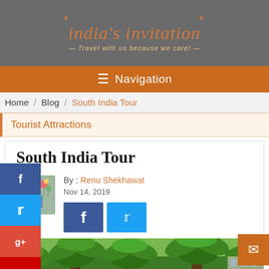india's invitation — Travel with us because we care!
Navigation
Home / Blog / South India Tour
Tourist Attractions
South India Tour
By : Renu Shekhawat
Nov 14, 2019
[Figure (photo): Tropical palm trees / lush green vegetation photo at bottom of page]